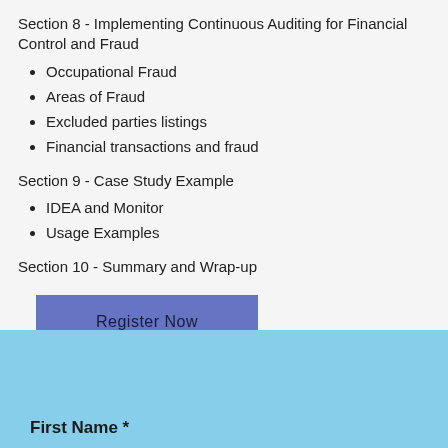Section 8 - Implementing Continuous Auditing for Financial Control and Fraud
Occupational Fraud
Areas of Fraud
Excluded parties listings
Financial transactions and fraud
Section 9 - Case Study Example
IDEA and Monitor
Usage Examples
Section 10 - Summary and Wrap-up
[Figure (other): Register Now button with blue/purple background]
First Name *